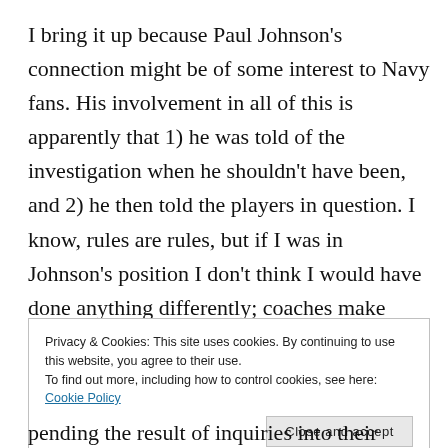I bring it up because Paul Johnson's connection might be of some interest to Navy fans. His involvement in all of this is apparently that 1) he was told of the investigation when he shouldn't have been, and 2) he then told the players in question. I know, rules are rules, but if I was in Johnson's position I don't think I would have done anything differently; coaches make their living in part by earning the trust of teenagers. Keeping something like this from them might feel like a betrayal
Privacy & Cookies: This site uses cookies. By continuing to use this website, you agree to their use. To find out more, including how to control cookies, see here: Cookie Policy
pending the result of inquiries into their eligibility, how